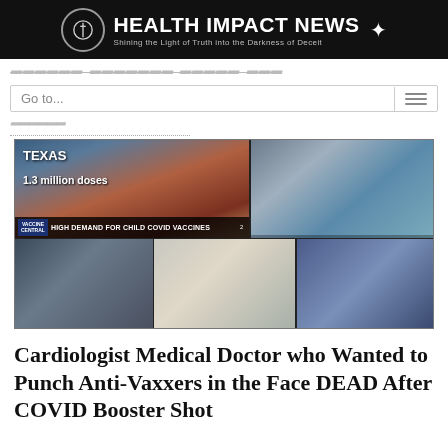HEALTH IMPACT NEWS — Shining the Light of Truth into the Darkness of Deceit
Go to...
[Figure (photo): Collage of six photos showing children receiving COVID-19 vaccines. Top left shows a news broadcast overlay with text 'TEXAS', '1.3 million doses', 'VACCINE CENTRAL', 'HIGH DEMAND FOR CHILD COVID VACCINES'. Top right shows a child in a medical setting. Bottom row shows three more children being vaccinated.]
Cardiologist Medical Doctor who Wanted to Punch Anti-Vaxxers in the Face DEAD After COVID Booster Shot